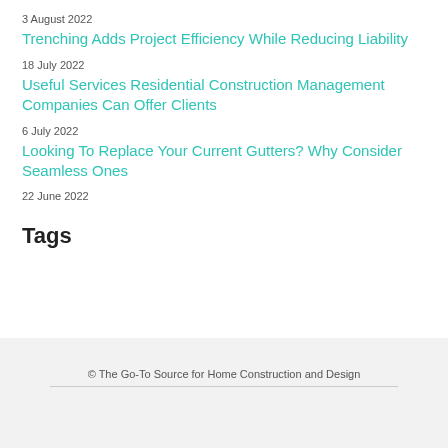3 August 2022
Trenching Adds Project Efficiency While Reducing Liability
18 July 2022
Useful Services Residential Construction Management Companies Can Offer Clients
6 July 2022
Looking To Replace Your Current Gutters? Why Consider Seamless Ones
22 June 2022
Tags
© The Go-To Source for Home Construction and Design